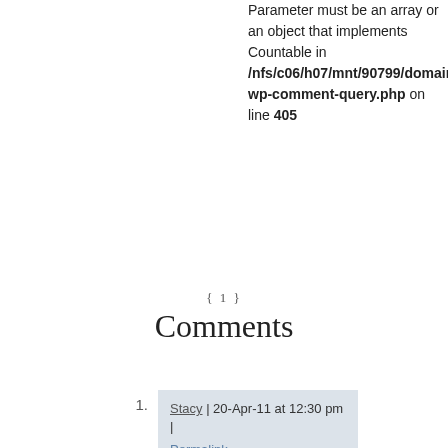Parameter must be an array or an object that implements Countable in /nfs/c06/h07/mnt/90799/domains/juke/includes/class-wp-comment-query.php on line 405
{ 1 }
Comments
Stacy | 20-Apr-11 at 12:30 pm | Permalink
I MADE my own Clash shirt. I sketched out the logo on the first album in purple fabric paint. Still have, although it will never fit.